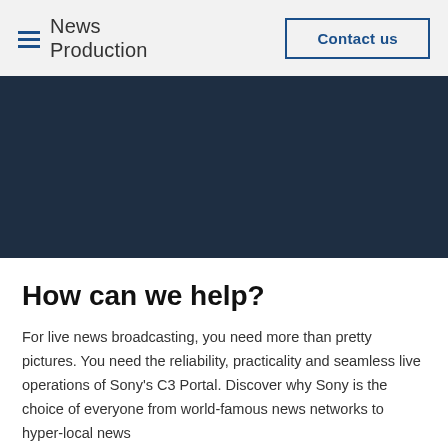News Production | Contact us
[Figure (photo): Dark navy blue hero banner image area]
How can we help?
For live news broadcasting, you need more than pretty pictures. You need the reliability, practicality and seamless live operations of Sony’s C3 Portal. Discover why Sony is the choice of everyone from world-famous news networks to hyper-local news